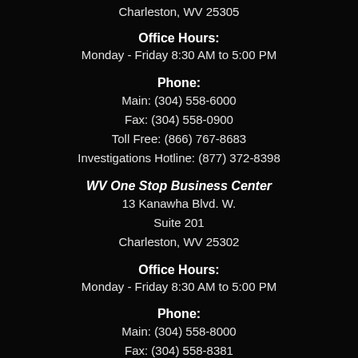Charleston, WV 25305
Office Hours:
Monday - Friday 8:30 AM to 5:00 PM
Phone:
Main: (304) 558-6000
Fax: (304) 558-0900
Toll Free: (866) 767-8683
Investigations Hotline: (877) 372-8398
WV One Stop Business Center
13 Kanawha Blvd. W.
Suite 201
Charleston, WV 25302
Office Hours:
Monday - Friday 8:30 AM to 5:00 PM
Phone:
Main: (304) 558-8000
Fax: (304) 558-8381
Toll Free: (866) 767-8683
North Central WV Business Hub
153 West Main Street